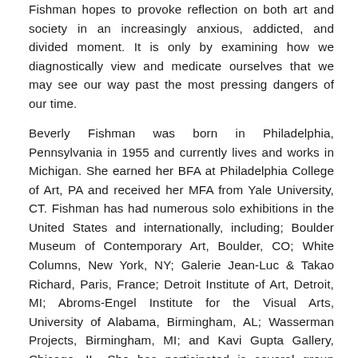Fishman hopes to provoke reflection on both art and society in an increasingly anxious, addicted, and divided moment. It is only by examining how we diagnostically view and medicate ourselves that we may see our way past the most pressing dangers of our time.
Beverly Fishman was born in Philadelphia, Pennsylvania in 1955 and currently lives and works in Michigan. She earned her BFA at Philadelphia College of Art, PA and received her MFA from Yale University, CT. Fishman has had numerous solo exhibitions in the United States and internationally, including; Boulder Museum of Contemporary Art, Boulder, CO; White Columns, New York, NY; Galerie Jean-Luc & Takao Richard, Paris, France; Detroit Institute of Art, Detroit, MI; Abroms-Engel Institute for the Visual Arts, University of Alabama, Birmingham, AL; Wasserman Projects, Birmingham, MI; and Kavi Gupta Gallery, Chicago, IL. She has participated is several group exhibitions nationally and internationally from New York to London, Cologne and Paris.